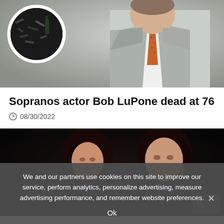[Figure (photo): Top news article image: man in light grey suit with orange/brown tie on right side; circular inset photo on left showing dark scene with scattered objects]
Sopranos actor Bob LuPone dead at 76
08/30/2022
[Figure (photo): Photo of two dark-haired women, possibly celebrities, against a dark background]
We and our partners use cookies on this site to improve our service, perform analytics, personalize advertising, measure advertising performance, and remember website preferences.
Ok